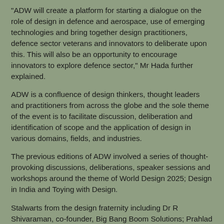“ADW will create a platform for starting a dialogue on the role of design in defence and aerospace, use of emerging technologies and bring together design practitioners, defence sector veterans and innovators to deliberate upon this. This will also be an opportunity to encourage innovators to explore defence sector,” Mr Hada further explained.
ADW is a confluence of design thinkers, thought leaders and practitioners from across the globe and the sole theme of the event is to facilitate discussion, deliberation and identification of scope and the application of design in various domains, fields, and industries.
The previous editions of ADW involved a series of thought-provoking discussions, deliberations, speaker sessions and workshops around the theme of World Design 2025; Design in India and Toying with Design.
Stalwarts from the design fraternity including Dr R Shivaraman, co-founder, Big Bang Boom Solutions; Prahlad Kakkar, Founder, Genesis Film Production, among others; Shiladitya Bora, Filmmaker and Founder of Platoon One Films; Manish Bhatt, Director – Scarecrow M&C Saatchi;